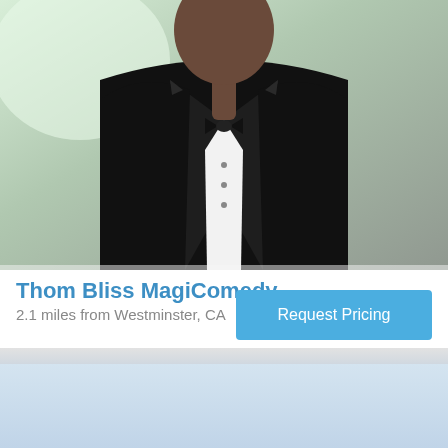[Figure (photo): A man wearing a black tuxedo with bow tie, upper body visible against a light greenish background.]
Thom Bliss MagiComedy
2.1 miles from Westminster, CA
Request Pricing